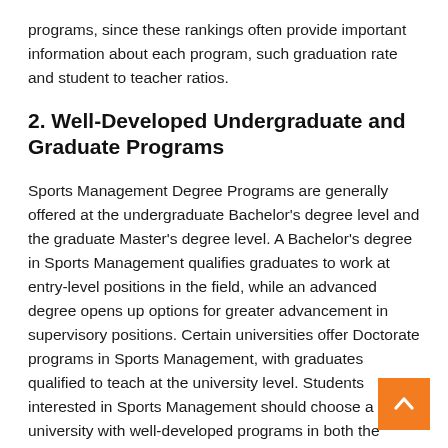programs, since these rankings often provide important information about each program, such graduation rate and student to teacher ratios.
2. Well-Developed Undergraduate and Graduate Programs
Sports Management Degree Programs are generally offered at the undergraduate Bachelor's degree level and the graduate Master's degree level. A Bachelor's degree in Sports Management qualifies graduates to work at entry-level positions in the field, while an advanced degree opens up options for greater advancement in supervisory positions. Certain universities offer Doctorate programs in Sports Management, with graduates qualified to teach at the university level. Students interested in Sports Management should choose a university with well-developed programs in both the Undergraduate and Graduate levels, because the strength of a Department across levels does dictate the resources and opportunities available to all students.